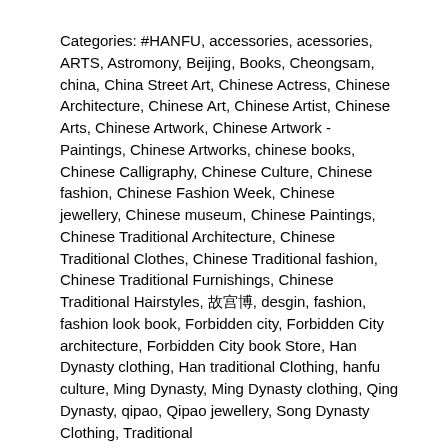Categories: #HANFU, accessories, acessories, ARTS, Astromony, Beijing, Books, Cheongsam, china, China Street Art, Chinese Actress, Chinese Architecture, Chinese Art, Chinese Artist, Chinese Arts, Chinese Artwork, Chinese Artwork - Paintings, Chinese Artworks, chinese books, Chinese Calligraphy, Chinese Culture, Chinese fashion, Chinese Fashion Week, Chinese jewellery, Chinese museum, Chinese Paintings, Chinese Traditional Architecture, Chinese Traditional Clothes, Chinese Traditional fashion, Chinese Traditional Furnishings, Chinese Traditional Hairstyles, 故宫博, desgin, fashion, fashion look book, Forbidden city, Forbidden City architecture, Forbidden City book Store, Han Dynasty clothing, Han traditional Clothing, hanfu culture, Ming Dynasty, Ming Dynasty clothing, Qing Dynasty, qipao, Qipao jewellery, Song Dynasty Clothing, Traditional